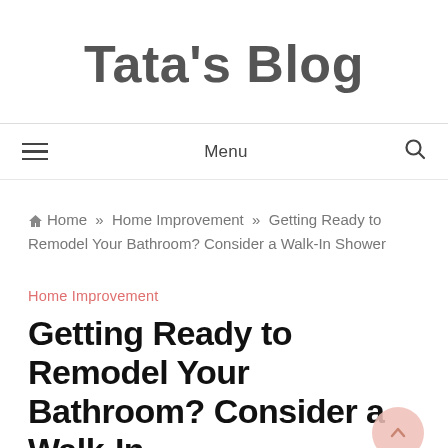Tata's Blog
Menu
Home » Home Improvement » Getting Ready to Remodel Your Bathroom? Consider a Walk-In Shower
Home Improvement
Getting Ready to Remodel Your Bathroom? Consider a Walk-In